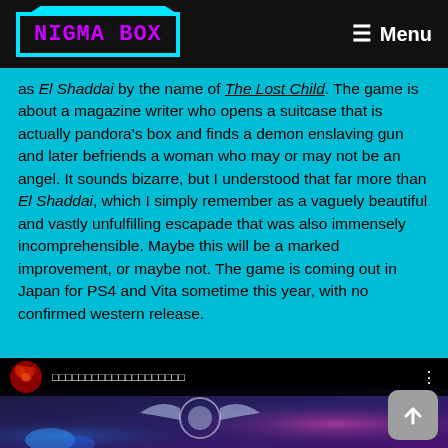NIGMA BOX | Menu
as El Shaddai by the name of The Lost Child. The game is about a magazine writer who opens a suitcase that is actually pandora's box and finds a demon enslaving gun and later befriends a woman who may or may not be an angel. It sounds bizarre, but I understood that far more than El Shaddai, which I simply remember as a vaguely beautiful and vastly unfulfilling escapade that was also immensely incomprehensible. Maybe this will be a marked improvement, or maybe not. The game is coming out in Japan for PS4 and Vita sometime this year, with no confirmed western release.
[Figure (screenshot): Embedded video player showing a game trailer with a red circular avatar/logo on the left, Japanese text title in the center, and a three-dot menu on the right. The video frame shows a blue-purple abstract game scene.]